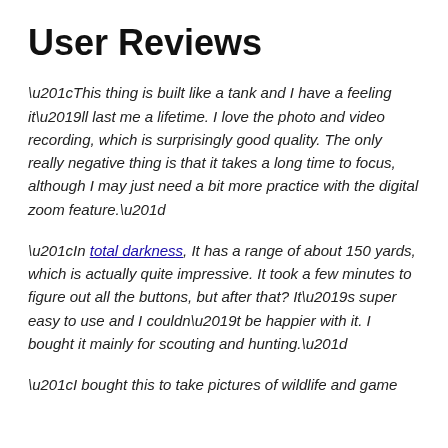User Reviews
“This thing is built like a tank and I have a feeling it’ll last me a lifetime. I love the photo and video recording, which is surprisingly good quality. The only really negative thing is that it takes a long time to focus, although I may just need a bit more practice with the digital zoom feature.”
“In total darkness, It has a range of about 150 yards, which is actually quite impressive. It took a few minutes to figure out all the buttons, but after that? It’s super easy to use and I couldn’t be happier with it. I bought it mainly for scouting and hunting.”
“I bought this to take pictures of wildlife and game